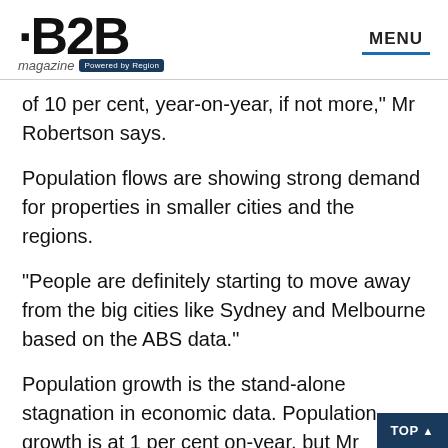B2B magazine Powered by Region | MENU
of 10 per cent, year-on-year, if not more," Mr Robertson says.
Population flows are showing strong demand for properties in smaller cities and the regions.
“People are definitely starting to move away from the big cities like Sydney and Melbourne based on the ABS data.”
Population growth is the stand-alone stagnation in economic data. Population growth is at 1 per cent on-year, but Mr Robertson says this is low across the